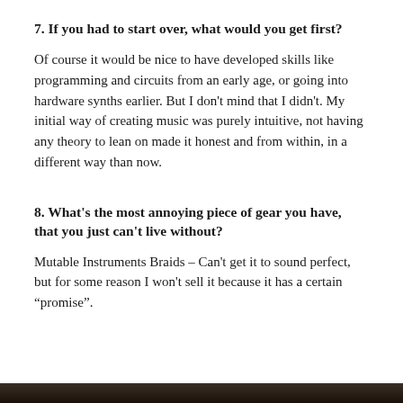7. If you had to start over, what would you get first?
Of course it would be nice to have developed skills like programming and circuits from an early age, or going into hardware synths earlier. But I don't mind that I didn't. My initial way of creating music was purely intuitive, not having any theory to lean on made it honest and from within, in a different way than now.
8. What's the most annoying piece of gear you have, that you just can't live without?
Mutable Instruments Braids – Can't get it to sound perfect, but for some reason I won't sell it because it has a certain “promise”.
[Figure (photo): Dark partial image visible at the bottom of the page, appears to be a photo strip]